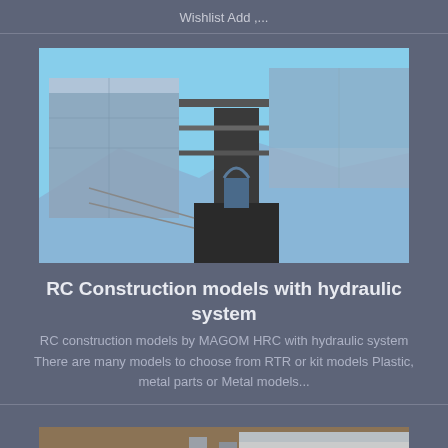Wishlist Add ,...
[Figure (photo): RC construction model with hydraulic system components - metal and plastic parts visible against blue sky background]
RC Construction models with hydraulic system
RC construction models by MAGOM HRC with hydraulic system There are many models to choose from RTR or kit models Plastic, metal parts or Metal models...
[Figure (photo): RCLESU 1/15 L574 hydraulic wheel loader model - close-up of wheel and loader arm components]
RCLESU 1/15 L574 hydraulic wheel loader model RD